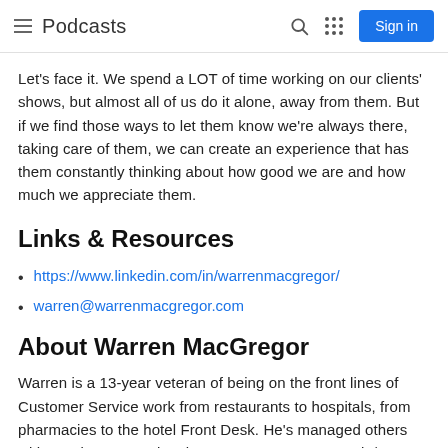≡ Podcasts  🔍  ⠿  Sign in
Let's face it. We spend a LOT of time working on our clients' shows, but almost all of us do it alone, away from them. But if we find those ways to let them know we're always there, taking care of them, we can create an experience that has them constantly thinking about how good we are and how much we appreciate them.
Links & Resources
https://www.linkedin.com/in/warrenmacgregor/
warren@warrenmacgregor.com
About Warren MacGregor
Warren is a 13-year veteran of being on the front lines of Customer Service work from restaurants to hospitals, from pharmacies to the hotel Front Desk. He's managed others with Marriott International, Inc. as a Banquet Captain/Event